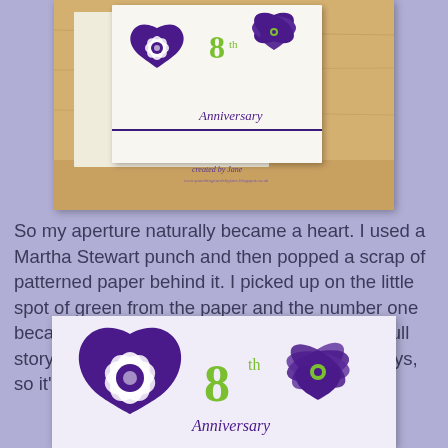[Figure (photo): Photo of anniversary cards standing up, cream colored cards with purple heart stamp designs showing flower in heart and '8th Anniversary' text, on a wooden surface. Watermark reads 'created by Jane'.]
So my aperture naturally became a heart. I used a Martha Stewart punch and then popped a scrap of patterned paper behind it. I picked up on the little spot of green from the paper and the number one became eight - which actually doesn't tell the full story as they've been together since school days, so it's more like eighteen years.
[Figure (photo): Close-up photo of anniversary card front, showing large purple heart stamp with white flower, '8th Anniversary' text in purple and green, and a small purple heart with flower center to the right.]